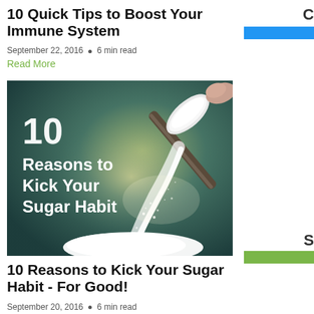10 Quick Tips to Boost Your Immune System
September 22, 2016 • 6 min read
Read More
[Figure (photo): Photo of a spoon pouring sugar with text overlay: '10 Reasons to Kick Your Sugar Habit']
10 Reasons to Kick Your Sugar Habit - For Good!
September 20, 2016 • 6 min read